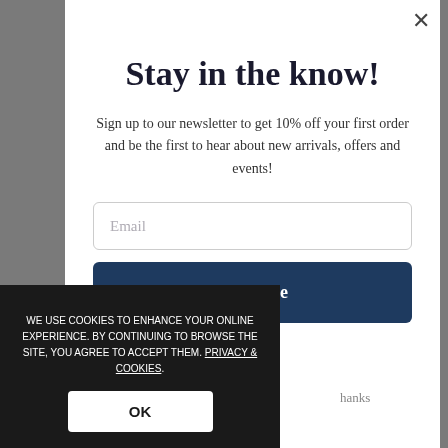Stay in the know!
Sign up to our newsletter to get 10% off your first order and be the first to hear about new arrivals, offers and events!
Email
Continue
hanks
WE USE COOKIES TO ENHANCE YOUR ONLINE EXPERIENCE. BY CONTINUING TO BROWSE THE SITE, YOU AGREE TO ACCEPT THEM. PRIVACY & COOKIES.
OK
Pl